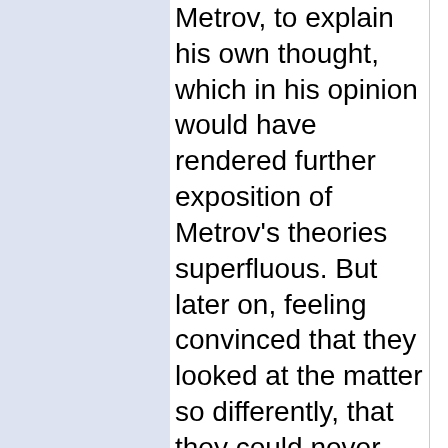Metrov, to explain his own thought, which in his opinion would have rendered further exposition of Metrov's theories superfluous. But later on, feeling convinced that they looked at the matter so differently, that they could never understand one another, he did not even oppose his statements, but simply listened. Although what Metrov was saying was by now utterly devoid of interest for him, he yet experienced a certain satisfaction in listening to him. It flattered his vanity